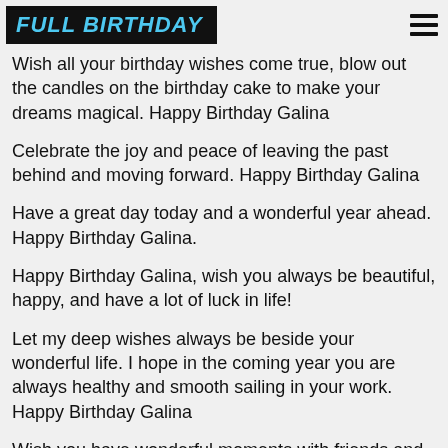FULL BIRTHDAY
Wish all your birthday wishes come true, blow out the candles on the birthday cake to make your dreams magical. Happy Birthday Galina
Celebrate the joy and peace of leaving the past behind and moving forward. Happy Birthday Galina
Have a great day today and a wonderful year ahead. Happy Birthday Galina.
Happy Birthday Galina, wish you always be beautiful, happy, and have a lot of luck in life!
Let my deep wishes always be beside your wonderful life. I hope in the coming year you are always healthy and smooth sailing in your work. Happy Birthday Galina
Wish you have wonderful moments with friends and relatives on this important day. Hope you are always successful and happy in life. Happy Birthday Galina